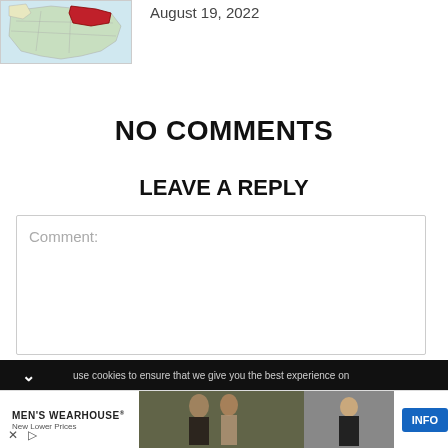[Figure (map): Map showing a highlighted region (in red/dark) on what appears to be a country map with regional boundaries, light blue/green background]
August 19, 2022
NO COMMENTS
LEAVE A REPLY
Comment:
use cookies to ensure that we give you the best experience on
[Figure (photo): Advertisement for Men's Wearhouse featuring a couple at a formal event and a man in a dark suit, with INFO button]
MEN'S WEARHOUSE®
New Lower Prices
INFO